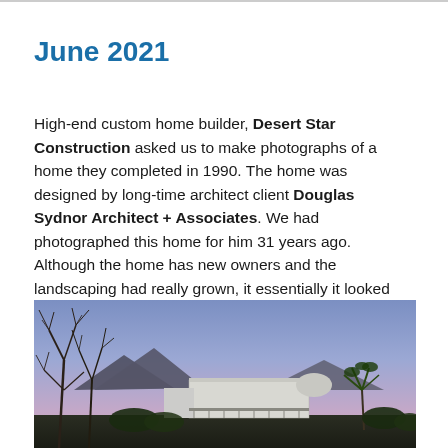June 2021
High-end custom home builder, Desert Star Construction asked us to make photographs of a home they completed in 1990. The home was designed by long-time architect client Douglas Sydnor Architect + Associates. We had photographed this home for him 31 years ago. Although the home has new owners and the landscaping had really grown, it essentially it looked the same.
[Figure (photo): Exterior photograph of a modern custom home at dusk/twilight, showing a white flat-roofed structure with desert landscaping including bare branchy trees in the foreground, mountains in the background, and a purple-blue sky.]